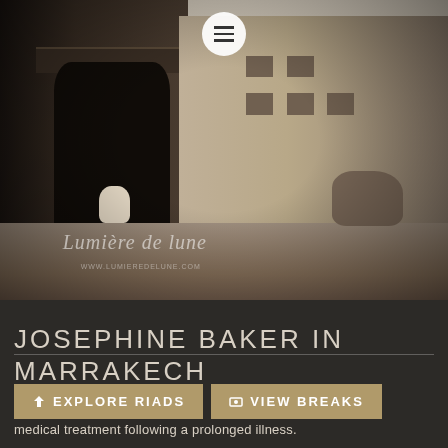[Figure (photo): Black and white historical photograph of a Moroccan street scene in Marrakech, showing ornate doorway with decorative arch on the left building, plain plaster wall buildings, a figure sitting in the doorway, horse and riders in the background right, with 'Lumière de lune' watermark]
JOSEPHINE BAKER IN MARRAKECH
Jo in C medical treatment following a prolonged illness.